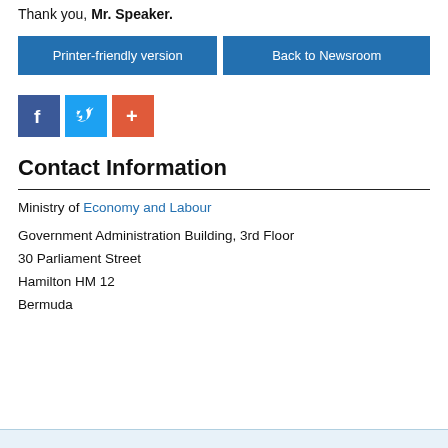Thank you, Mr. Speaker.
Printer-friendly version
Back to Newsroom
[Figure (infographic): Social media share icons: Facebook (blue), Twitter (light blue), and a red/orange plus/share button]
Contact Information
Ministry of Economy and Labour
Government Administration Building, 3rd Floor
30 Parliament Street
Hamilton HM 12
Bermuda